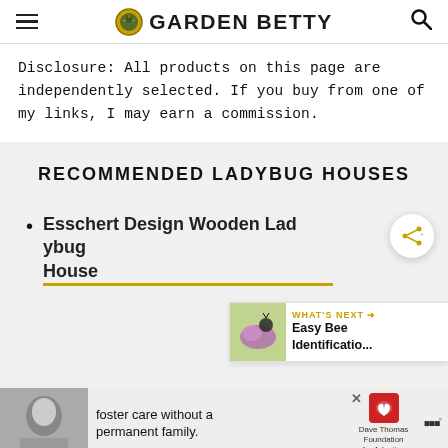GARDEN BETTY
Disclosure: All products on this page are independently selected. If you buy from one of my links, I may earn a commission.
RECOMMENDED LADYBUG HOUSES
Esschert Design Wooden Ladybug House
[Figure (screenshot): What's Next promotional widget showing Easy Bee Identificatio... with a photo of purple flowers and a bee]
[Figure (screenshot): Advertisement banner: foster care without a permanent family. Dave Thomas Foundation for Adoption. WW logo.]